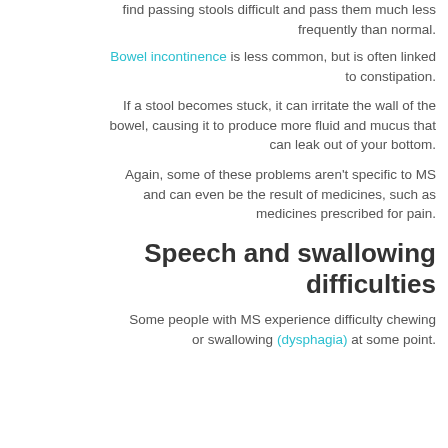find passing stools difficult and pass them much less frequently than normal.
Bowel incontinence is less common, but is often linked to constipation.
If a stool becomes stuck, it can irritate the wall of the bowel, causing it to produce more fluid and mucus that can leak out of your bottom.
Again, some of these problems aren't specific to MS and can even be the result of medicines, such as medicines prescribed for pain.
Speech and swallowing difficulties
Some people with MS experience difficulty chewing or swallowing (dysphagia) at some point.